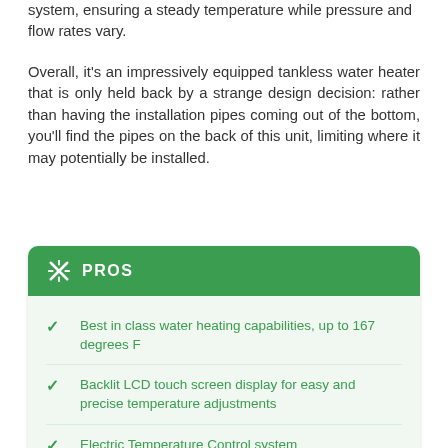system, ensuring a steady temperature while pressure and flow rates vary.
Overall, it's an impressively equipped tankless water heater that is only held back by a strange design decision: rather than having the installation pipes coming out of the bottom, you'll find the pipes on the back of this unit, limiting where it may potentially be installed.
PROS
Best in class water heating capabilities, up to 167 degrees F
Backlit LCD touch screen display for easy and precise temperature adjustments
Electric Temperature Control system